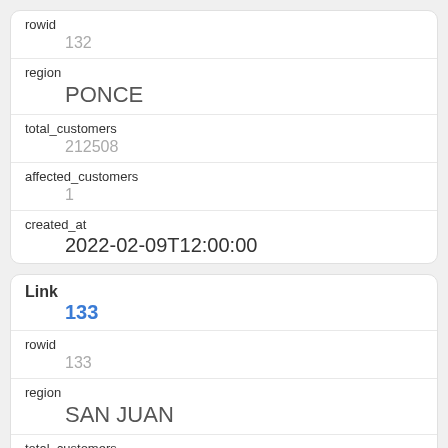| field | value |
| --- | --- |
| rowid | 132 |
| region | PONCE |
| total_customers | 212508 |
| affected_customers | 1 |
| created_at | 2022-02-09T12:00:00 |
| field | value |
| --- | --- |
| Link | 133 |
| rowid | 133 |
| region | SAN JUAN |
| total_customers | 253068 |
| affected_customers | 29 |